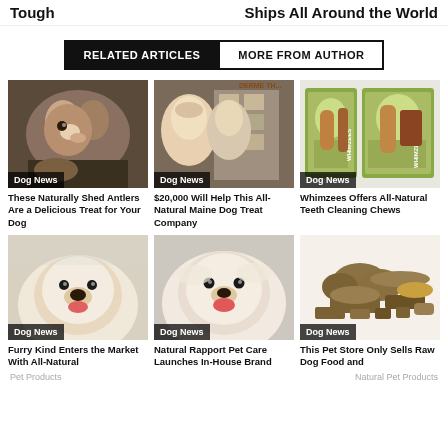Tough    Ships All Around the World
RELATED ARTICLES | MORE FROM AUTHOR
[Figure (photo): Brown and white husky dog chewing on an antler, with 'Dog News' badge. Article: These Naturally Shed Antlers Are a Delicious Treat for Your Dog]
[Figure (photo): Two women in a pet store with shelves of products, with 'Dog News' badge. Article: $20,000 Will Help This All-Natural Maine Dog Treat Company]
[Figure (photo): Whimzees dog chew product packages, with 'Dog News' badge. Article: Whimzees Offers All-Natural Teeth Cleaning Chews]
[Figure (photo): Fluffy dog with tongue out in bath, with 'Dog News' badge. Article: Furry Kind Enters the Market With All-Natural...]
[Figure (photo): Fluffy dog smiling with tongue out, with 'Dog News' badge. Article: Natural Rapport Pet Care Launches In-House Brand...]
[Figure (photo): Raw dog food treats and bones on white background, with 'Dog News' badge. Article: This Pet Store Only Sells Raw Dog Food and...]
Pet Products    Natural Pet Products